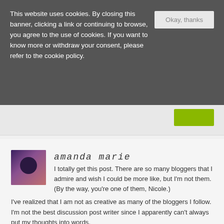This website uses cookies. By closing this banner, clicking a link or continuing to browse, you agree to the use of cookies. If you want to know more or withdraw your consent, please refer to the cookie policy.
Okay, thanks
amanda marie
I totally get this post. There are so many bloggers that I admire and wish I could be more like, but I'm not them. (By the way, you're one of them, Nicole.) I've realized that I am not as creative as many of the bloggers I follow. I'm not the best discussion post writer since I apparently can't always put my thoughts into words.